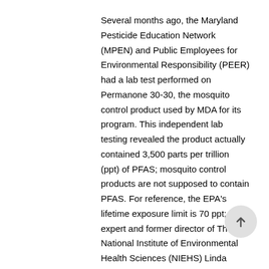Several months ago, the Maryland Pesticide Education Network (MPEN) and Public Employees for Environmental Responsibility (PEER) had a lab test performed on Permanone 30-30, the mosquito control product used by MDA for its program. This independent lab testing revealed the product actually contained 3,500 parts per trillion (ppt) of PFAS; mosquito control products are not supposed to contain PFAS. For reference, the EPA's lifetime exposure limit is 70 ppt; expert and former director of The National Institute of Environmental Health Sciences (NIEHS) Linda Birnbaum, PhD, has stated that the true lifetime exposure limit should be .1 ppt. MDA's mosquito control product